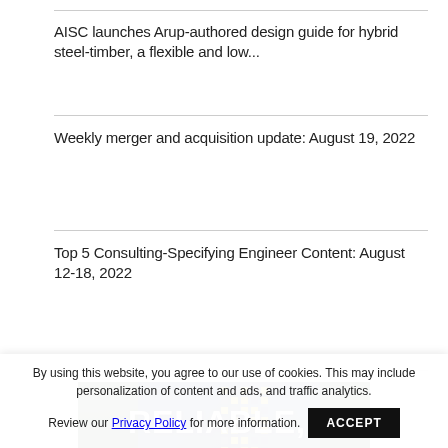AISC launches Arup-authored design guide for hybrid steel-timber, a flexible and low...
Weekly merger and acquisition update: August 19, 2022
Top 5 Consulting-Specifying Engineer Content: August 12-18, 2022
[Figure (photo): Advertisement image showing a tall building at night with trees and text reading 'RELIABLE, RESILIENT']
By using this website, you agree to our use of cookies. This may include personalization of content and ads, and traffic analytics. Review our Privacy Policy for more information.